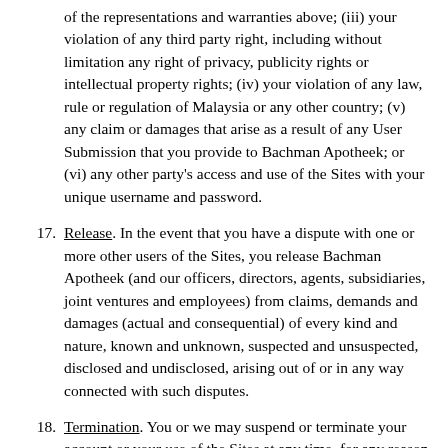of the representations and warranties above; (iii) your violation of any third party right, including without limitation any right of privacy, publicity rights or intellectual property rights; (iv) your violation of any law, rule or regulation of Malaysia or any other country; (v) any claim or damages that arise as a result of any User Submission that you provide to Bachman Apotheek; or (vi) any other party's access and use of the Sites with your unique username and password.
17. Release. In the event that you have a dispute with one or more other users of the Sites, you release Bachman Apotheek (and our officers, directors, agents, subsidiaries, joint ventures and employees) from claims, demands and damages (actual and consequential) of every kind and nature, known and unknown, suspected and unsuspected, disclosed and undisclosed, arising out of or in any way connected with such disputes.
18. Termination. You or we may suspend or terminate your account or your use of the Sites at any time, for any reason or for no reason. We may also block your access to our Sites in the event that (a) you breach this Agreement; (b) we are unable to verify or authenticate any information you provide to us; or (c) we believe that your actions may cause financial loss or legal